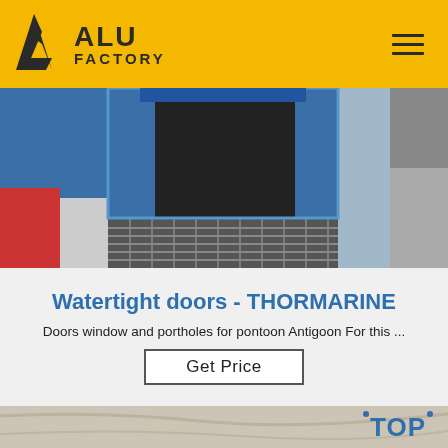ALU FACTORY
[Figure (photo): Industrial watertight door with metal grating steps and blue painted frame, viewed from exterior on a vessel or pontoon]
Watertight doors - THORMARINE
Doors window and portholes for pontoon Antigoon For this ...
Get Price
[Figure (photo): Close-up of light-colored textile or fabric material with a 'TOP' badge/logo in blue in the lower right corner]